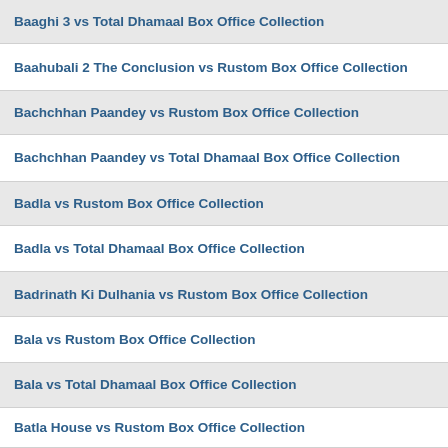Baaghi 3 vs Total Dhamaal Box Office Collection
Baahubali 2 The Conclusion vs Rustom Box Office Collection
Bachchhan Paandey vs Rustom Box Office Collection
Bachchhan Paandey vs Total Dhamaal Box Office Collection
Badla vs Rustom Box Office Collection
Badla vs Total Dhamaal Box Office Collection
Badrinath Ki Dulhania vs Rustom Box Office Collection
Bala vs Rustom Box Office Collection
Bala vs Total Dhamaal Box Office Collection
Batla House vs Rustom Box Office Collection